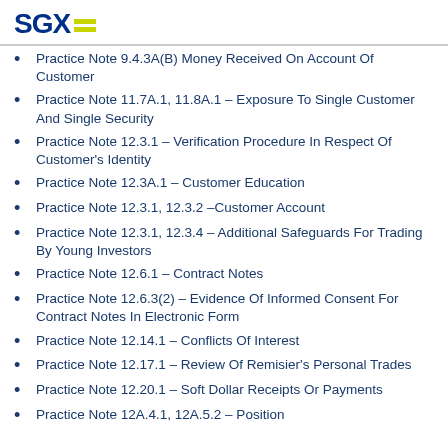SGX
Practice Note 9.4.3A(B) Money Received On Account Of Customer
Practice Note 11.7A.1, 11.8A.1 – Exposure To Single Customer And Single Security
Practice Note 12.3.1 – Verification Procedure In Respect Of Customer's Identity
Practice Note 12.3A.1 – Customer Education
Practice Note 12.3.1, 12.3.2 –Customer Account
Practice Note 12.3.1, 12.3.4 – Additional Safeguards For Trading By Young Investors
Practice Note 12.6.1 – Contract Notes
Practice Note 12.6.3(2) – Evidence Of Informed Consent For Contract Notes In Electronic Form
Practice Note 12.14.1 – Conflicts Of Interest
Practice Note 12.17.1 – Review Of Remisier's Personal Trades
Practice Note 12.20.1 – Soft Dollar Receipts Or Payments
Practice Note 12A.4.1, 12A.5.2 – Position